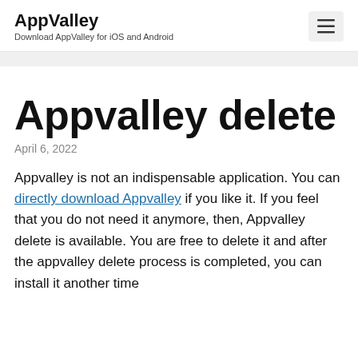AppValley — Download AppValley for iOS and Android
Appvalley delete
April 6, 2022
Appvalley is not an indispensable application. You can directly download Appvalley if you like it. If you feel that you do not need it anymore, then, Appvalley delete is available. You are free to delete it and after the appvalley delete process is completed, you can install it another time